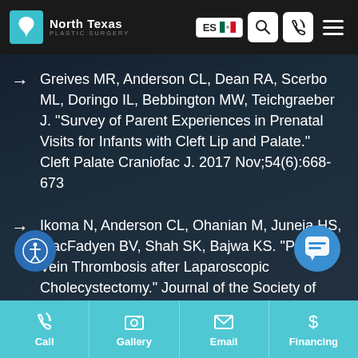North Texas Plastic Surgery
Greives MR, Anderson CL, Dean RA, Scerbo ML, Doringo IL, Bebbington MW, Teichgraeber J. "Survey of Parent Experiences in Prenatal Visits for Infants with Cleft Lip and Palate." Cleft Palate Craniofac J. 2017 Nov;54(6):668-673
Ikoma N, Anderson CL, Ohanian M, Juneja HS, MacFadyen BV, Shah SK, Bajwa KS. "Portal Vein Thrombosis after Laparoscopic Cholecystectomy." Journal of the Society of Laparoendoscopic Surgeons 2014 Jan-Mar; 18(1):
Call | Gallery | Email | Financing